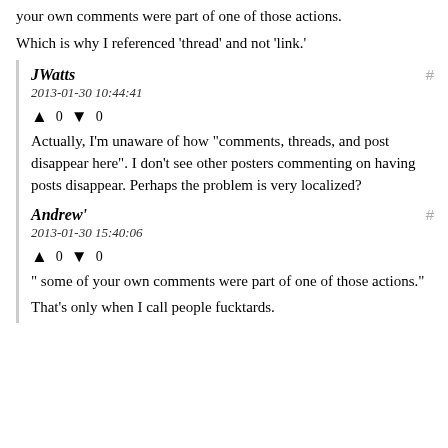your own comments were part of one of those actions.
Which is why I referenced 'thread' and not 'link.'
JWatts
2013-01-30 10:44:41
↑ 0 ↓ 0
Actually, I'm unaware of how "comments, threads, and post disappear here". I don't see other posters commenting on having posts disappear. Perhaps the problem is very localized?
Andrew'
2013-01-30 15:40:06
↑ 0 ↓ 0
" some of your own comments were part of one of those actions."
That's only when I call people fucktards.